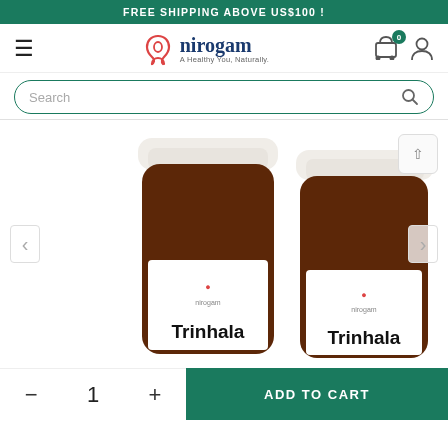FREE SHIPPING ABOVE US$100 !
[Figure (logo): Nirogam logo with stylized red icon, brand name 'nirogam' in dark blue, tagline 'A Healthy You, Naturally.']
Search
[Figure (photo): Two amber supplement bottles with white caps and white labels showing Nirogam logo and 'Trinhala' text, displayed side by side on white background]
1
ADD TO CART